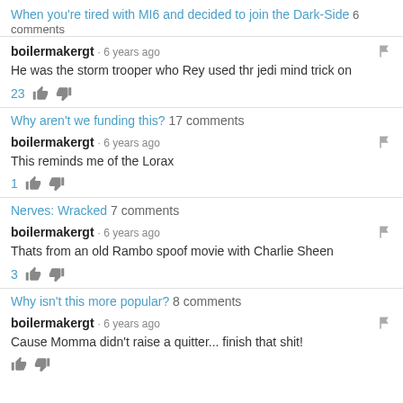When you're tired with MI6 and decided to join the Dark-Side 6 comments
boilermakergt · 6 years ago
He was the storm trooper who Rey used thr jedi mind trick on
23 👍 👎
Why aren't we funding this? 17 comments
boilermakergt · 6 years ago
This reminds me of the Lorax
1 👍 👎
Nerves: Wracked 7 comments
boilermakergt · 6 years ago
Thats from an old Rambo spoof movie with Charlie Sheen
3 👍 👎
Why isn't this more popular? 8 comments
boilermakergt · 6 years ago
Cause Momma didn't raise a quitter... finish that shit!
👍 👎